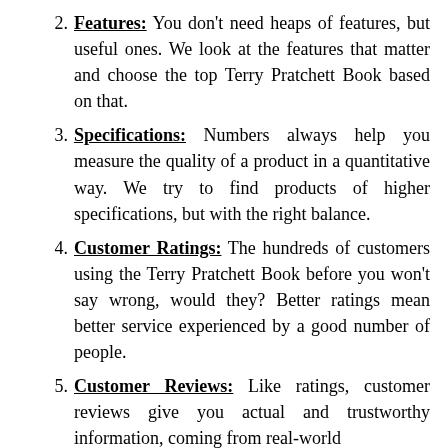2. Features: You don't need heaps of features, but useful ones. We look at the features that matter and choose the top Terry Pratchett Book based on that.
3. Specifications: Numbers always help you measure the quality of a product in a quantitative way. We try to find products of higher specifications, but with the right balance.
4. Customer Ratings: The hundreds of customers using the Terry Pratchett Book before you won't say wrong, would they? Better ratings mean better service experienced by a good number of people.
5. Customer Reviews: Like ratings, customer reviews give you actual and trustworthy information, coming from real-world